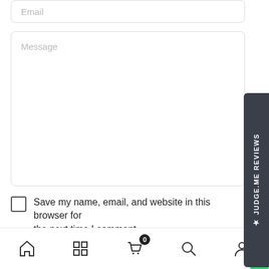[Figure (screenshot): Email input field with placeholder text 'Email']
[Figure (screenshot): Message textarea with placeholder text 'Message']
Save my name, email, and website in this browser for the next time I comment.
[Figure (screenshot): Green 'SUBMIT NOW' button]
[Figure (screenshot): Bottom navigation bar with home, grid, cart (0), search, and account icons]
[Figure (screenshot): Judge.me Reviews vertical sidebar badge in dark grey]